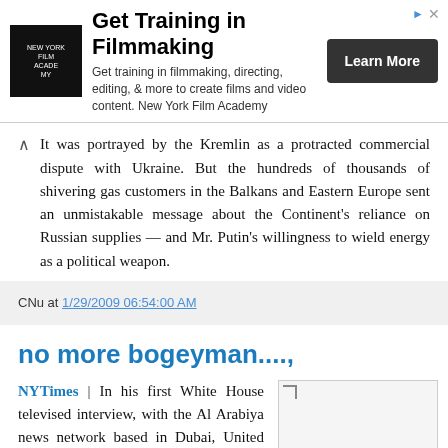[Figure (other): Advertisement banner for New York Film Academy: logo, title 'Get Training in Filmmaking', description text, and 'Learn More' button]
It was portrayed by the Kremlin as a protracted commercial dispute with Ukraine. But the hundreds of thousands of shivering gas customers in the Balkans and Eastern Europe sent an unmistakable message about the Continent's reliance on Russian supplies — and Mr. Putin's willingness to wield energy as a political weapon.
CNu at 1/29/2009 06:54:00 AM
no more bogeyman....,
NYTimes | In his first White House televised interview, with the Al Arabiya news network based in Dubai, United Arab Emirates, President
[Figure (photo): Placeholder image (broken/loading image icon)]